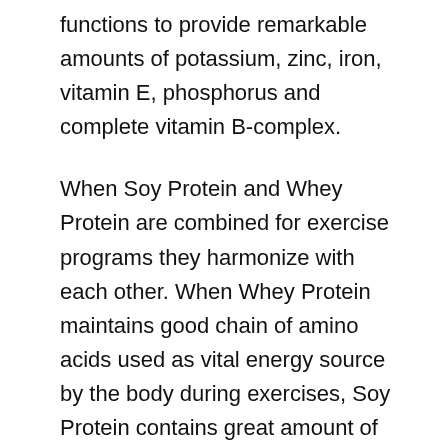functions to provide remarkable amounts of potassium, zinc, iron, vitamin E, phosphorus and complete vitamin B-complex.
When Soy Protein and Whey Protein are combined for exercise programs they harmonize with each other. When Whey Protein maintains good chain of amino acids used as vital energy source by the body during exercises, Soy Protein contains great amount of amino acids like arginine and glutamine.